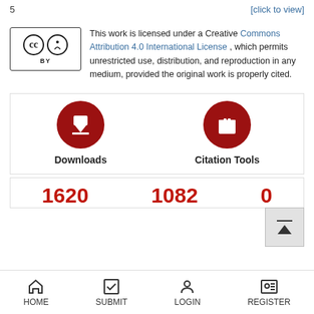5
[click to view]
This work is licensed under a Creative Commons Attribution 4.0 International License , which permits unrestricted use, distribution, and reproduction in any medium, provided the original work is properly cited.
[Figure (logo): Creative Commons BY license badge with CC and person icons]
Downloads
Citation Tools
1620
1082
0
HOME
SUBMIT
LOGIN
REGISTER